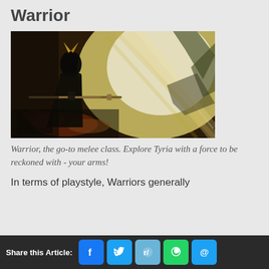Warrior
[Figure (illustration): Fantasy warrior figure in dark armor with winged helmet, holding a sword, surrounded by dramatic bright light beams and colorful abstract splashes]
Warrior, the go-to melee class. Explore Tyria with a force to be reckoned with - your arms!
In terms of playstyle, Warriors generally
Share this Article: [Facebook] [Twitter] [Reddit] [WhatsApp] [Email]